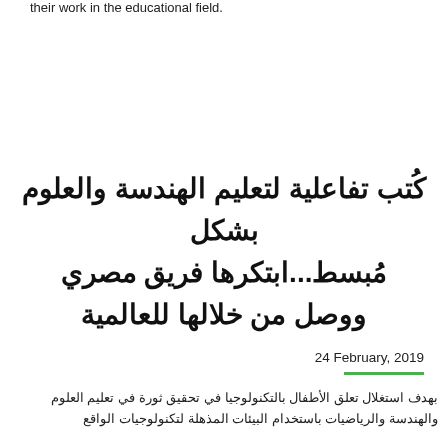their work in the educational field.
كُتب تفاعلية لتعليم الهندسة والعلوم بشكل مُبسط...ابتكرها فريق مصري ووصل من خلالها للعالمية
24 February, 2019
بهدف استغلال تعلق الأطفال بالتكنولوجيا في تحقيق ثورة في تعليم العلوم والهندسة والرياضيات باستخدام البيئات المذهلة لتكنولوجيات الواقع